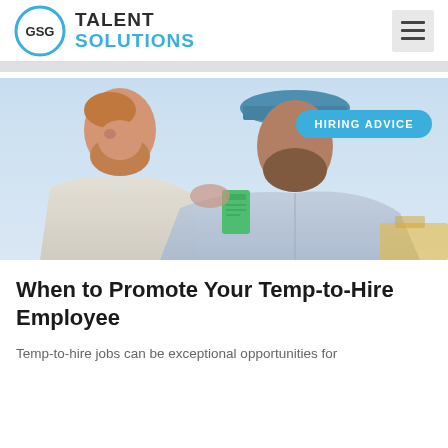[Figure (logo): GSG Talent Solutions logo with circular GSG emblem and text 'TALENT SOLUTIONS']
[Figure (photo): Two men shaking hands outdoors, one wearing a hard hat, with a blue sky background. Has 'HIRING ADVICE' badge overlay.]
When to Promote Your Temp-to-Hire Employee
Temp-to-hire jobs can be exceptional opportunities for